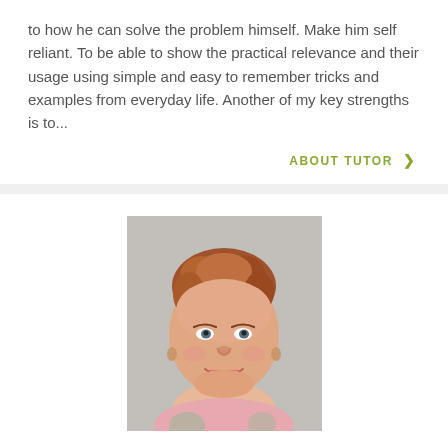to how he can solve the problem himself. Make him self reliant. To be able to show the practical relevance and their usage using simple and easy to remember tricks and examples from everyday life. Another of my key strengths is to...
ABOUT TUTOR >
[Figure (photo): Portrait photo of a middle-aged woman with reddish-brown curly hair, smiling, wearing a floral pink and green blazer, against a light grey background.]